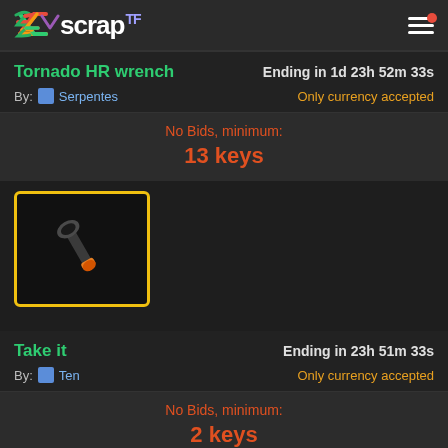[Figure (screenshot): Scrap.TF website header with rainbow logo and hamburger menu with red notification dot]
Tornado HR wrench
Ending in 1d 23h 52m 33s
By: Serpentes
Only currency accepted
No Bids, minimum:
13 keys
[Figure (photo): Golden Frying Pan or wrench item icon with yellow border on dark background]
Take it
Ending in 23h 51m 33s
By: Ten
Only currency accepted
No Bids, minimum:
2 keys
[Figure (other): Partial blue-bordered item box at bottom]